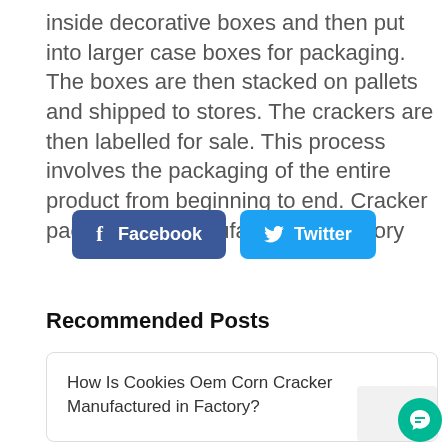inside decorative boxes and then put into larger case boxes for packaging. The boxes are then stacked on pallets and shipped to stores. The crackers are then labelled for sale. This process involves the packaging of the entire product from beginning to end. Cracker packaging is manufactured in factory
[Figure (other): Facebook and Twitter social share buttons]
Recommended Posts
How Is Cookies Oem Corn Cracker Manufactured in Factory?